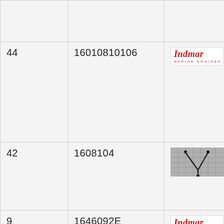|  |  |  |
| --- | --- | --- |
|  |  |  |
| 44 | 16010810106 | [Indmar logo] |
| 42 | 1608104 | [part photo] |
| 9 | 1646092E | [Indmar logo] |